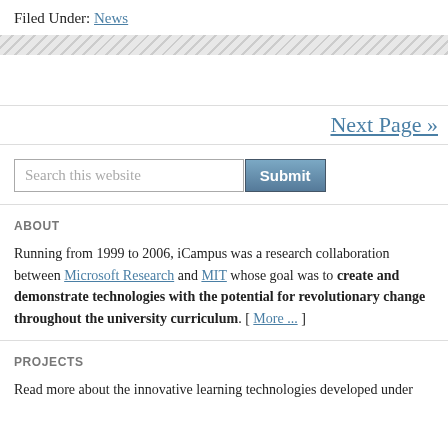Filed Under: News
Next Page »
Search this website  Submit
ABOUT
Running from 1999 to 2006, iCampus was a research collaboration between Microsoft Research and MIT whose goal was to create and demonstrate technologies with the potential for revolutionary change throughout the university curriculum. [ More ... ]
PROJECTS
Read more about the innovative learning technologies developed under